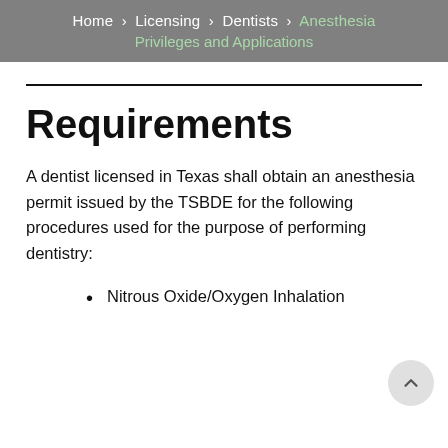Home > Licensing > Dentists > Anesthesia Privileges and Applications
Requirements
A dentist licensed in Texas shall obtain an anesthesia permit issued by the TSBDE for the following procedures used for the purpose of performing dentistry:
Nitrous Oxide/Oxygen Inhalation